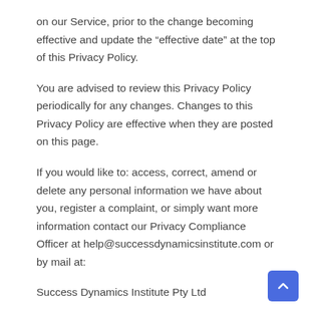on our Service, prior to the change becoming effective and update the “effective date” at the top of this Privacy Policy.
You are advised to review this Privacy Policy periodically for any changes. Changes to this Privacy Policy are effective when they are posted on this page.
If you would like to: access, correct, amend or delete any personal information we have about you, register a complaint, or simply want more information contact our Privacy Compliance Officer at help@successdynamicsinstitute.com or by mail at:
Success Dynamics Institute Pty Ltd
[Re: Privacy Compliance Officer]